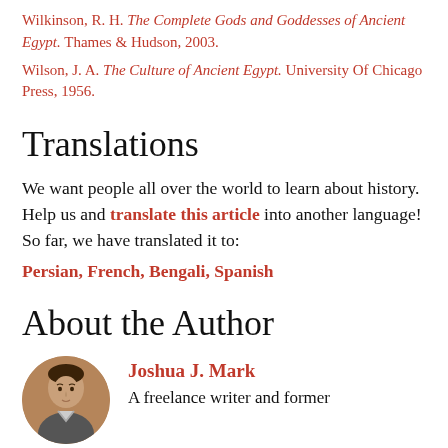Wilkinson, R. H. The Complete Gods and Goddesses of Ancient Egypt. Thames & Hudson, 2003.
Wilson, J. A. The Culture of Ancient Egypt. University Of Chicago Press, 1956.
Translations
We want people all over the world to learn about history. Help us and translate this article into another language! So far, we have translated it to: Persian, French, Bengali, Spanish
About the Author
Joshua J. Mark
A freelance writer and former